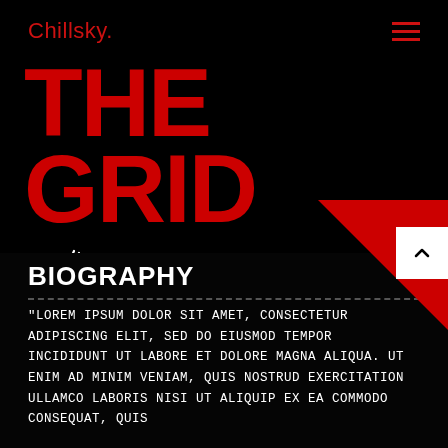Chillsky
THE GRID
[Figure (illustration): Signature/autograph in white cursive script over a red horizontal line]
BIOGRAPHY
“LOREM IPSUM DOLOR SIT AMET, CONSECTETUR ADIPISCING ELIT, SED DO EIUSMOD TEMPOR INCIDIDUNT UT LABORE ET DOLORE MAGNA ALIQUA. UT ENIM AD MINIM VENIAM, QUIS NOSTRUD EXERCITATION ULLAMCO LABORIS NISI UT ALIQUIP EX EA COMMODO CONSEQUAT, QUIS